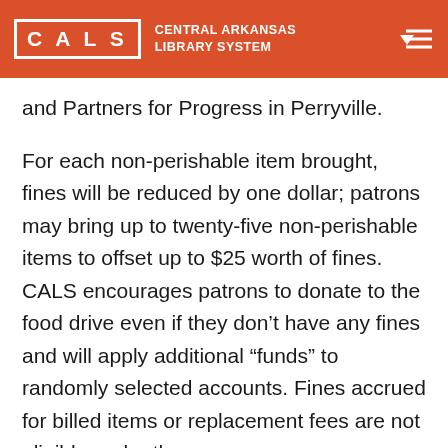CALS — CENTRAL ARKANSAS LIBRARY SYSTEM
and Partners for Progress in Perryville.
For each non-perishable item brought, fines will be reduced by one dollar; patrons may bring up to twenty-five non-perishable items to offset up to $25 worth of fines. CALS encourages patrons to donate to the food drive even if they don't have any fines and will apply additional “funds” to randomly selected accounts. Fines accrued for billed items or replacement fees are not eligible under the program.
This year, particularly, food banks are being used